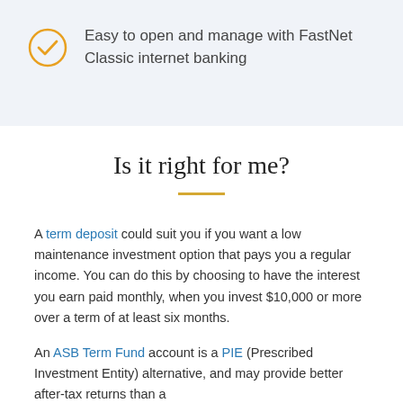Easy to open and manage with FastNet Classic internet banking
Is it right for me?
A term deposit could suit you if you want a low maintenance investment option that pays you a regular income. You can do this by choosing to have the interest you earn paid monthly, when you invest $10,000 or more over a term of at least six months.
An ASB Term Fund account is a PIE (Prescribed Investment Entity) alternative, and may provide better after-tax returns than a